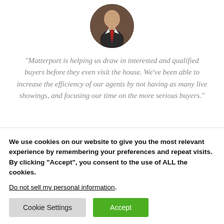[Figure (photo): Circular profile photo of a man in a dark suit with a red tie, shown from shoulders up.]
“Matterport is helping us draw in interested and qualified buyers before they even visit the house. We’ve been able to increase the efficiency of our agents by not having as many live showings, and focusing our time on the more serious buyers.”
We use cookies on our website to give you the most relevant experience by remembering your preferences and repeat visits. By clicking “Accept”, you consent to the use of ALL the cookies.
Do not sell my personal information.